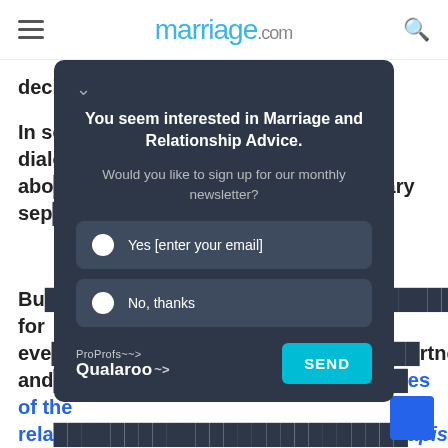marriage.com
decide to stay together as a result.
In some cases, frank and transparent dialogue about…necessary separation…
But…better for every…partner and…es of the relationship…therapist
[Figure (screenshot): ProProfs Qualaroo popup/modal overlay on marriage.com website asking 'You seem interested in Marriage and Relationship Advice. Would you like to sign up for our monthly newsletter?' with Yes [enter your email] and No, thanks radio options, and a SEND button.]